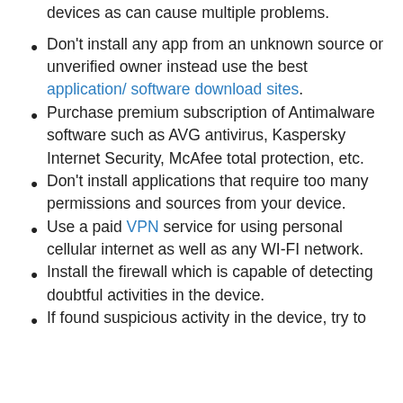devices as can cause multiple problems.
Don't install any app from an unknown source or unverified owner instead use the best application/ software download sites.
Purchase premium subscription of Antimalware software such as AVG antivirus, Kaspersky Internet Security, McAfee total protection, etc.
Don't install applications that require too many permissions and sources from your device.
Use a paid VPN service for using personal cellular internet as well as any WI-FI network.
Install the firewall which is capable of detecting doubtful activities in the device.
If found suspicious activity in the device, try to...